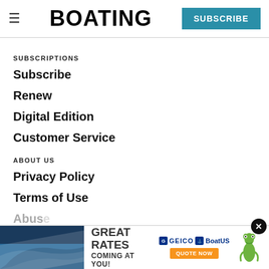BOATING | SUBSCRIBE
SUBSCRIPTIONS
Subscribe
Renew
Digital Edition
Customer Service
ABOUT US
Privacy Policy
Terms of Use
Abus...
Cont...
[Figure (screenshot): GEICO BoatUS advertisement banner: boat image on left, 'GREAT RATES COMING AT YOU!' text in center, GEICO BoatUS logo and orange QUOTE NOW button on right, with a gecko mascot illustration]